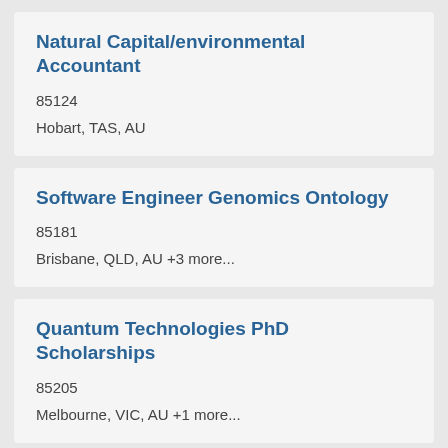Natural Capital/environmental Accountant
85124
Hobart, TAS, AU
Software Engineer Genomics Ontology
85181
Brisbane, QLD, AU +3 more...
Quantum Technologies PhD Scholarships
85205
Melbourne, VIC, AU +1 more...